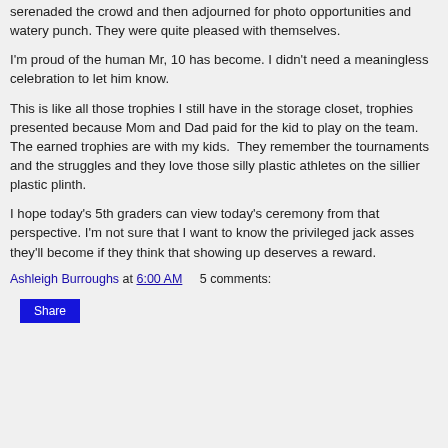serenaded the crowd and then adjourned for photo opportunities and watery punch.  They were quite pleased with themselves.
I'm proud of the human Mr, 10 has become.  I didn't need a meaningless celebration to let him know.
This is like all those trophies I still have in the storage closet, trophies presented because Mom and Dad paid for the kid to play on the team.  The earned trophies are with my kids.  They remember the tournaments and the struggles and they love those silly plastic athletes on the sillier plastic plinth.
I hope today's 5th graders can view today's ceremony from that perspective.  I'm not sure that I want to know the privileged jack asses they'll become if they think that showing up deserves a reward.
Ashleigh Burroughs at 6:00 AM    5 comments:
Share